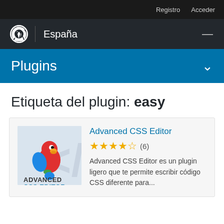Registro  Acceder
WordPress España
Plugins
Etiqueta del plugin: easy
[Figure (logo): Advanced CSS Editor plugin logo with a colorful parrot and CSS editor stylized text]
Advanced CSS Editor
★★★★½ (6)
Advanced CSS Editor es un plugin ligero que te permite escribir código CSS diferente para...